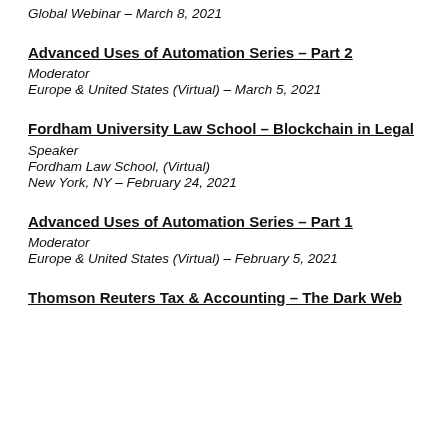Global Webinar – March 8, 2021
Advanced Uses of Automation Series – Part 2
Moderator
Europe & United States (Virtual) – March 5, 2021
Fordham University Law School – Blockchain in Legal
Speaker
Fordham Law School, (Virtual)
New York, NY – February 24, 2021
Advanced Uses of Automation Series – Part 1
Moderator
Europe & United States (Virtual) – February 5, 2021
Thomson Reuters Tax & Accounting – The Dark Web